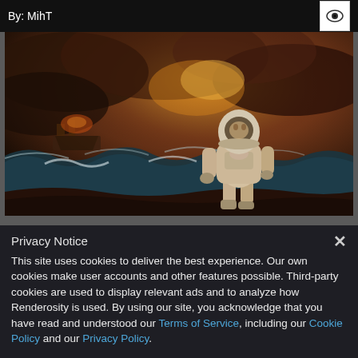By: MihT
[Figure (illustration): Digital art composite showing an astronaut in a spacesuit standing on rocky terrain with turbulent ocean waves and dramatic stormy sky. A ship is visible in the background amid the waves and fire.]
Privacy Notice
This site uses cookies to deliver the best experience. Our own cookies make user accounts and other features possible. Third-party cookies are used to display relevant ads and to analyze how Renderosity is used. By using our site, you acknowledge that you have read and understood our Terms of Service, including our Cookie Policy and our Privacy Policy.